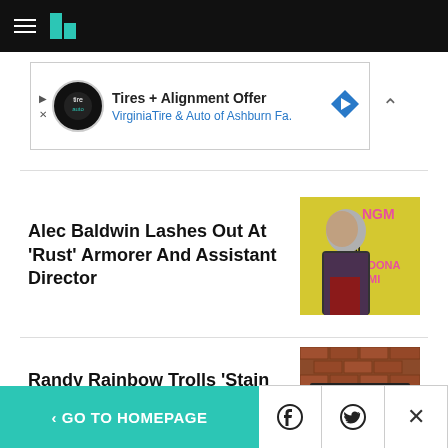HuffPost navigation header
[Figure (infographic): Advertisement banner: Tires + Alignment Offer — VirginiaTire & Auto of Ashburn Fa.]
Alec Baldwin Lashes Out At 'Rust' Armorer And Assistant Director
[Figure (photo): Photo of Alec Baldwin at an event, wearing a dark suit and red shirt, in front of a yellow background with text NGM, DONA, 3MI]
Randy Rainbow Trolls 'Stain On Our History' Trump With
[Figure (photo): Black and white photo of people looking through a framed window in a brick wall]
< GO TO HOMEPAGE